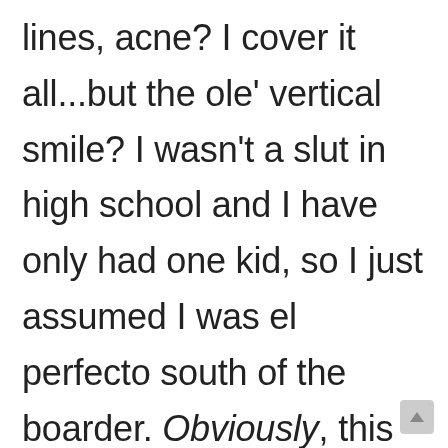lines, acne? I cover it all...but the ole' vertical smile? I wasn't a slut in high school and I have only had one kid, so I just assumed I was el perfecto south of the boarder. Obviously, this was absolutely unacceptable to